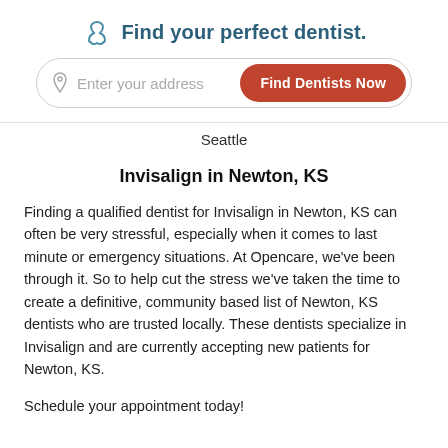Find your perfect dentist.
Seattle
Invisalign in Newton, KS
Finding a qualified dentist for Invisalign in Newton, KS can often be very stressful, especially when it comes to last minute or emergency situations. At Opencare, we've been through it. So to help cut the stress we've taken the time to create a definitive, community based list of Newton, KS dentists who are trusted locally. These dentists specialize in Invisalign and are currently accepting new patients for Newton, KS.
Schedule your appointment today!